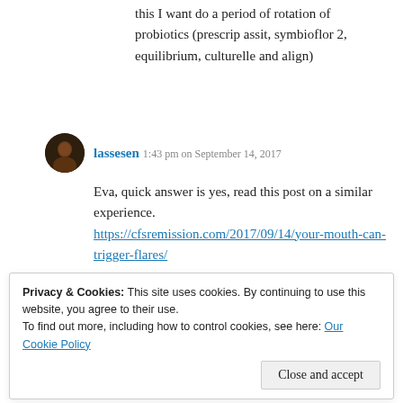this I want do a period of rotation of probiotics (prescrip assit, symbiofor 2, equilibrium, culturelle and align)
lassesen 1:43 pm on September 14, 2017
Eva, quick answer is yes, read this post on a similar experience.
https://cfsremission.com/2017/09/14/your-mouth-can-trigger-flares/
Pingback: Your mouth can trigger flares | CFS Remission
Sunny 12:26 pm on June 11, 2019
Privacy & Cookies: This site uses cookies. By continuing to use this website, you agree to their use.
To find out more, including how to control cookies, see here: Our Cookie Policy